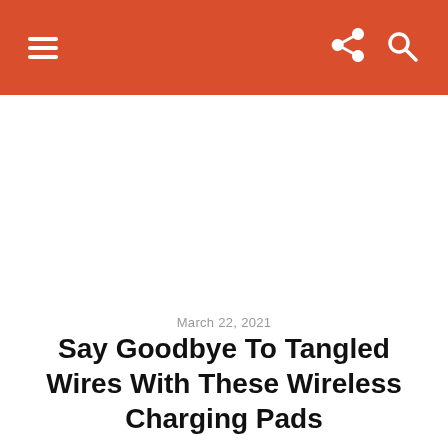☰  [share] [search]
March 22, 2021
Say Goodbye To Tangled Wires With These Wireless Charging Pads